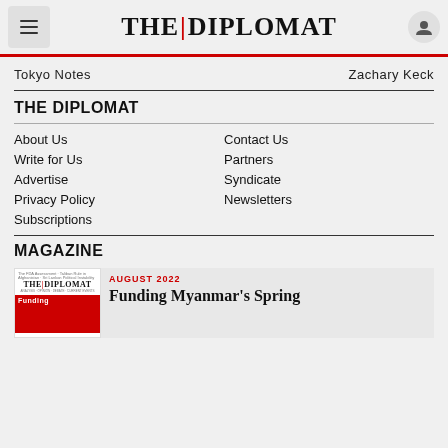THE | DIPLOMAT
Tokyo Notes    Zachary Keck
THE DIPLOMAT
About Us
Contact Us
Write for Us
Partners
Advertise
Syndicate
Privacy Policy
Newsletters
Subscriptions
MAGAZINE
[Figure (other): Magazine cover thumbnail for The Diplomat August 2022 issue]
AUGUST 2022
Funding Myanmar's Spring